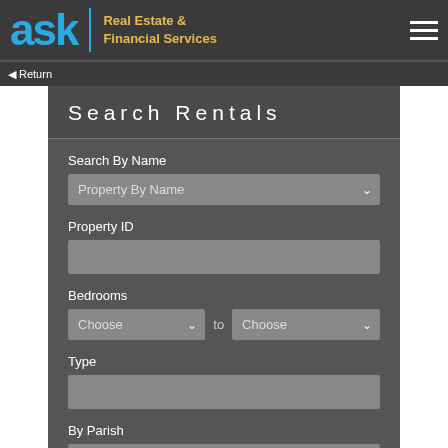[Figure (logo): ask Real Estate & Financial Services logo with blue 'ask' text and gold text, on dark grey navigation bar with hamburger menu icon]
◄ Return
Search Rentals
Search By Name
Property By Name
Property ID
Bedrooms
Choose  to  Choose
Type
By Parish
Price Per Month
$0  to  NoMax